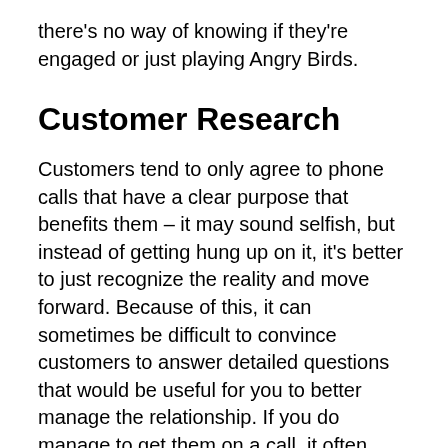there's no way of knowing if they're engaged or just playing Angry Birds.
Customer Research
Customers tend to only agree to phone calls that have a clear purpose that benefits them – it may sound selfish, but instead of getting hung up on it, it's better to just recognize the reality and move forward. Because of this, it can sometimes be difficult to convince customers to answer detailed questions that would be useful for you to better manage the relationship. If you do manage to get them on a call, it often goes something like this: